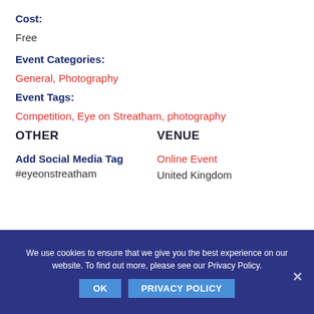Cost:
Free
Event Categories:
General, Photography
Event Tags:
Competition, Eye on Streatham, photography
OTHER
VENUE
Add Social Media Tag
#eyeonstreatham
Online Event
United Kingdom
We use cookies to ensure that we give you the best experience on our website. To find out more, please see our Privacy Policy.